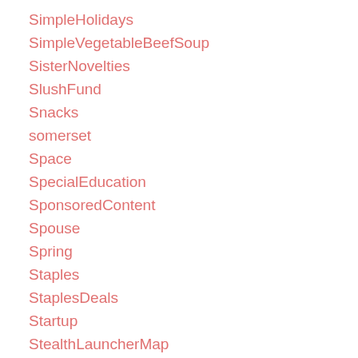SimpleHolidays
SimpleVegetableBeefSoup
SisterNovelties
SlushFund
Snacks
somerset
Space
SpecialEducation
SponsoredContent
Spouse
Spring
Staples
StaplesDeals
Startup
StealthLauncherMap